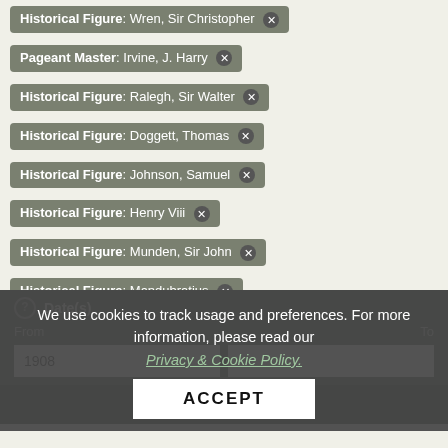Historical Figure: Wren, Sir Christopher ×
Pageant Master: Irvine, J. Harry ×
Historical Figure: Ralegh, Sir Walter ×
Historical Figure: Doggett, Thomas ×
Historical Figure: Johnson, Samuel ×
Historical Figure: Henry Viii ×
Historical Figure: Munden, Sir John ×
Historical Figure: Mandubratius ×
Author: Blunt, Reginald ×
We use cookies to track usage and preferences. For more information, please read our Privacy & Cookie Policy.
Date(s)
From
To
1908
ACCEPT
Update search